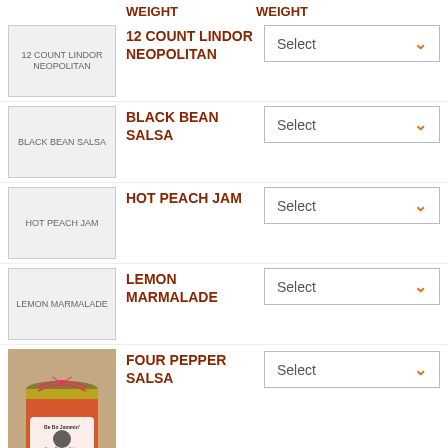WEIGHT
12 COUNT LINDOR NEOPOLITAN
BLACK BEAN SALSA
HOT PEACH JAM
LEMON MARMALADE
FOUR PEPPER SALSA
[Figure (photo): Jar of Four Pepper Salsa with red twine bow and Be Bo Jammin label]